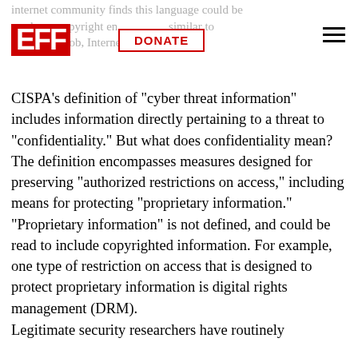EFF | DONATE
CISPA's definition of "cyber threat information" includes information directly pertaining to a threat to "confidentiality." But what does confidentiality mean? The definition encompasses measures designed for preserving "authorized restrictions on access," including means for protecting "proprietary information." "Proprietary information" is not defined, and could be read to include copyrighted information. For example, one type of restriction on access that is designed to protect proprietary information is digital rights management (DRM).
Legitimate security researchers have routinely